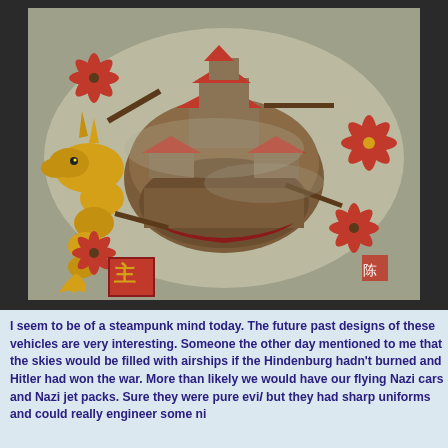[Figure (illustration): A steampunk/fantasy flying vessel designed to look like a Chinese dragon ship. The craft has a dragon head at the front, multiple red propellers attached to wooden arms extending from a central oval hull, traditional Chinese pagoda-style architecture on top, and a red banner with Chinese characters at the bottom. The image has a dark border and a parchment-colored background.]
I seem to be of a steampunk mind today. The future past designs of these vehicles are very interesting. Someone the other day mentioned to me that the skies would be filled with airships if the Hindenburg hadn't burned and Hitler had won the war. More than likely we would have our flying Nazi cars and Nazi jet packs. Sure they were pure evil but they had sharp uniforms and could really engineer some ni...